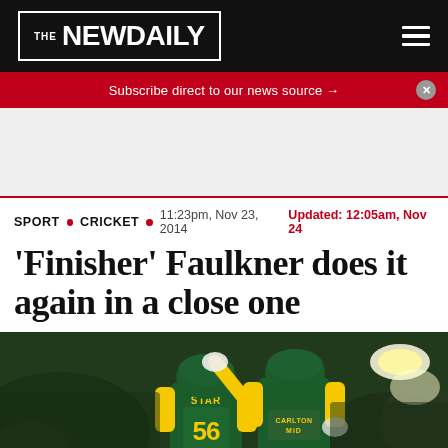THE NEW DAILY
Subscribe direct to our news source →
SPORT • CRICKET • 11:23pm, Nov 23, 2014 Updated: 12:05am, Nov 24
'Finisher' Faulkner does it again in a close one
[Figure (photo): Two Australian cricket players in green and yellow uniforms celebrating on the field, one wearing number 56 jersey (STAR), the other with helmet raised, at a night match.]